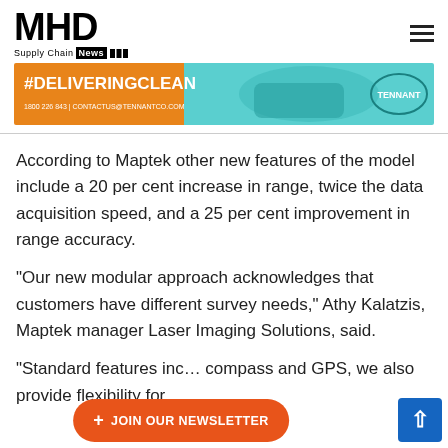MHD Supply Chain News
[Figure (other): Tennant #DELIVERINGCLEAN advertisement banner with orange and teal background, cleaning equipment image, and Tennant logo. Text: #DELIVERINGCLEAN, 1800 226 843 | CONTACTUS@TENNANTCO.COM]
According to Maptek other new features of the model include a 20 per cent increase in range, twice the data acquisition speed, and a 25 per cent improvement in range accuracy.
“Our new modular approach acknowledges that customers have different survey needs,” Athy Kalatzis, Maptek manager Laser Imaging Solutions, said.
“Standard features inc… compass and GPS, we also provide flexibility for